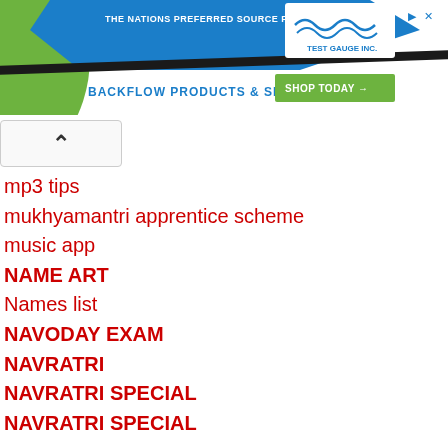[Figure (other): Advertisement banner for Test Gauge Inc. with green and blue wave design, text 'THE NATIONS PREFERRED SOURCE FOR BACKFLOW PRODUCTS & SERVICES' and 'SHOP TODAY' button]
mp3 tips
mukhyamantri apprentice scheme
music app
NAME ART
Names list
NAVODAY EXAM
NAVRATRI
NAVRATRI SPECIAL
NAVRATRI SPECIAL
ne app
new aap
new alphbate abcd
new app
new BPL LIST
new financial